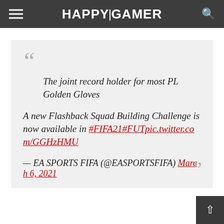HAPPYGAMER
The joint record holder for most PL Golden Gloves

A new Flashback Squad Building Challenge is now available in #FIFA21#FUTpic.twitter.com/GGHzHMU

— EA SPORTS FIFA (@EASPORTSFIFA) March 6, 2021